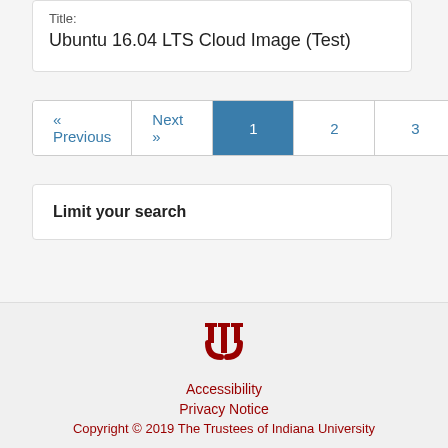Title:
Ubuntu 16.04 LTS Cloud Image (Test)
« Previous  Next »  1  2  3
Limit your search
[Figure (logo): Indiana University trident logo in dark red]
Accessibility
Privacy Notice
Copyright © 2019 The Trustees of Indiana University